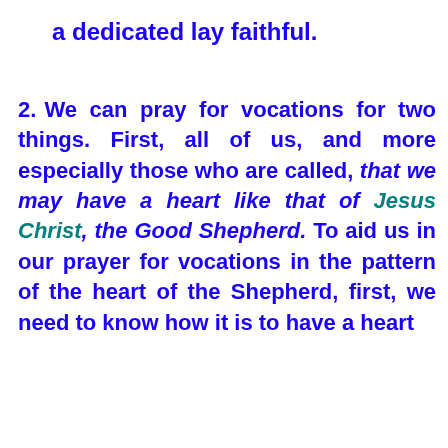a dedicated lay faithful.
2. We can pray for vocations for two things. First, all of us, and more especially those who are called, that we may have a heart like that of Jesus Christ, the Good Shepherd. To aid us in our prayer for vocations in the pattern of the heart of the Shepherd, first, we need to know how it is to have a heart